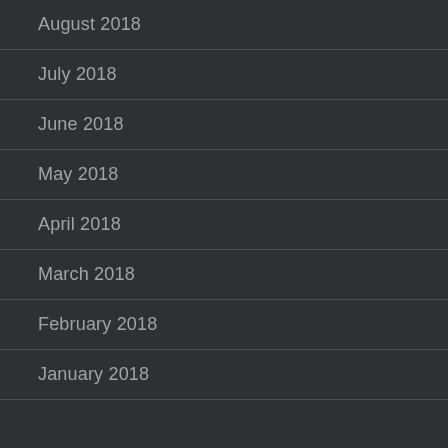August 2018
July 2018
June 2018
May 2018
April 2018
March 2018
February 2018
January 2018